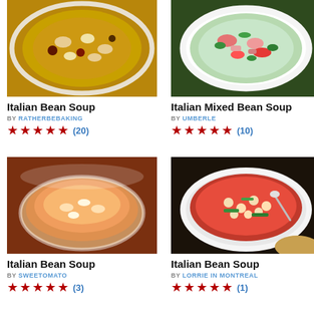[Figure (photo): Bowl of Italian bean soup with mixed beans in broth, top-down view on white plate]
Italian Bean Soup
BY RATHERBEBAKING
★★★★★ (20)
[Figure (photo): White bowl of Italian mixed bean soup with greens and herbs, top-down view]
Italian Mixed Bean Soup
BY UMBERLE
★★★★★ (10)
[Figure (photo): Glass bowl of Italian bean soup with tomato broth, top-down view]
Italian Bean Soup
BY SWEETOMATO
★★★★★ (3)
[Figure (photo): White scalloped bowl of Italian bean soup with chickpeas, green beans, and tomatoes, with spoon]
Italian Bean Soup
BY LORRIE IN MONTREAL
★★★★★ (1)